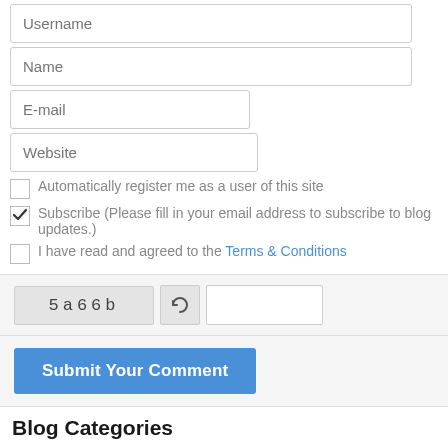[Figure (screenshot): Web form with input fields for Username, Name, E-mail, Website, checkboxes for auto-registration and subscription, CAPTCHA, and Submit button, followed by Blog Categories heading]
Blog Categories